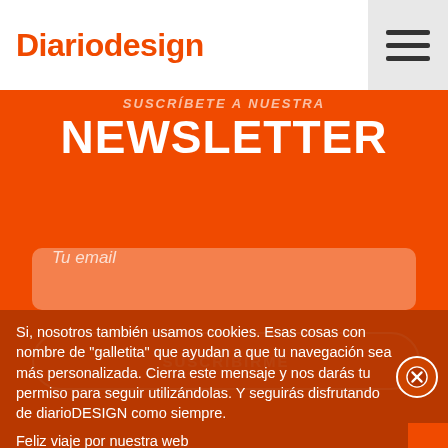Diariodesign
SUSCRÍBETE A NUESTRA NEWSLETTER
Tu email
SUSCRIBIRME
Si, nosotros también usamos cookies. Esas cosas con nombre de "galletita" que ayudan a que tu navegación sea más personalizada. Cierra este mensaje y nos darás tu permiso para seguir utilizándolas. Y seguirás disfrutando de diarioDESIGN como siempre.
Feliz viaje por nuestra web